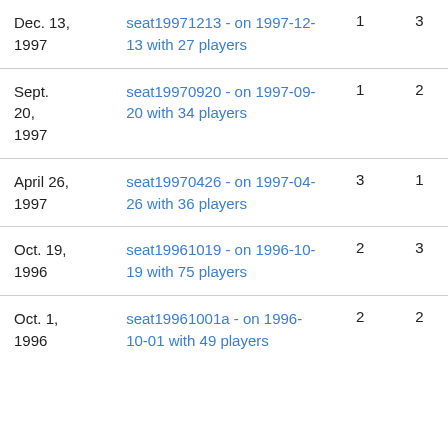| Date | Session | Col3 | Col4 |
| --- | --- | --- | --- |
| Dec. 13, 1997 | seat19971213 - on 1997-12-13 with 27 players | 1 | 3 |
| Sept. 20, 1997 | seat19970920 - on 1997-09-20 with 34 players | 1 | 2 |
| April 26, 1997 | seat19970426 - on 1997-04-26 with 36 players | 3 | 1 |
| Oct. 19, 1996 | seat19961019 - on 1996-10-19 with 75 players | 2 | 3 |
| Oct. 1, 1996 | seat19961001a - on 1996-10-01 with 49 players | 2 | 2 |